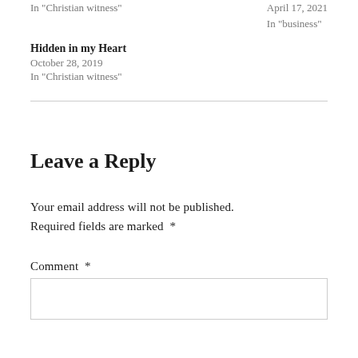In "Christian witness"
April 17, 2021
In "business"
Hidden in my Heart
October 28, 2019
In "Christian witness"
Leave a Reply
Your email address will not be published. Required fields are marked *
Comment *